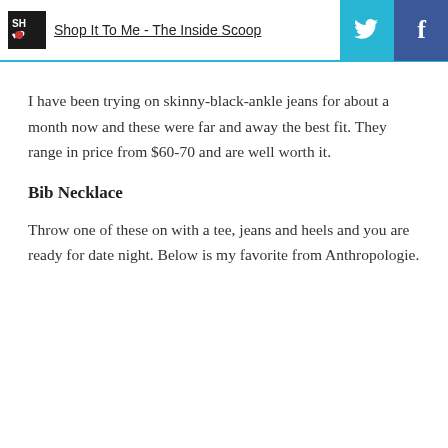Shop It To Me - The Inside Scoop
I have been trying on skinny-black-ankle jeans for about a month now and these were far and away the best fit. They range in price from $60-70 and are well worth it.
Bib Necklace
Throw one of these on with a tee, jeans and heels and you are ready for date night. Below is my favorite from Anthropologie.